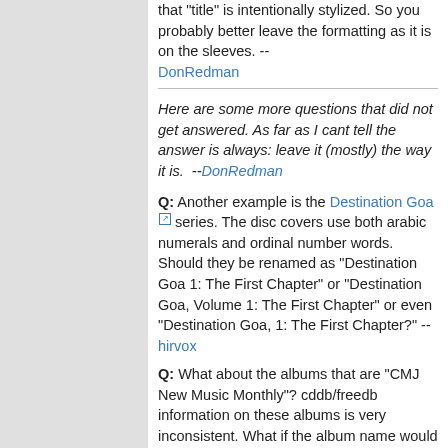that "title" is intentionally stylized. So you probably better leave the formatting as it is on the sleeves. -- DonRedman
Here are some more questions that did not get answered. As far as I cant tell the answer is always: leave it (mostly) the way it is. --DonRedman
Q: Another example is the Destination Goa series. The disc covers use both arabic numerals and ordinal number words. Should they be renamed as "Destination Goa 1: The First Chapter" or "Destination Goa, Volume 1: The First Chapter" or even "Destination Goa, 1: The First Chapter?" -- hirvox
Q: What about the albums that are "CMJ New Music Monthly"? cddb/freedb information on these albums is very inconsistent. What if the album name would be formatted as follows (which follows current entries) "CMJ New Music Monthly